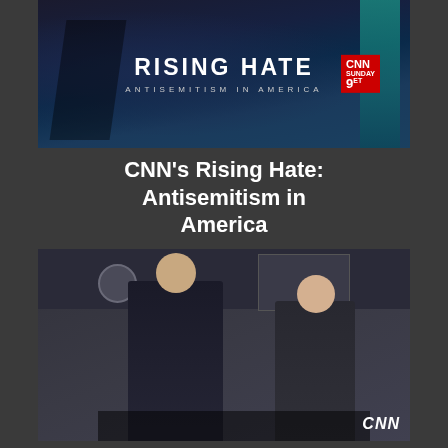[Figure (screenshot): CNN Rising Hate: Antisemitism in America promotional thumbnail with dark blue background and CNN logo badge showing Sunday 9pm]
CNN’s Rising Hate: Antisemitism in America
[Figure (screenshot): CNN video thumbnail showing two people in an office setting with a CNN watermark in the bottom right corner]
CNN Should Look Inwards & Act After Antisemitism Special
[Figure (photo): Partial photo of a person, cropped at bottom of page]